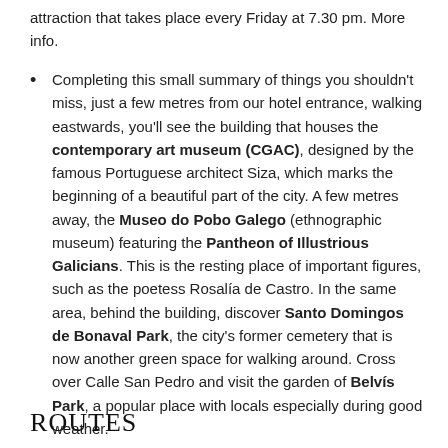attraction that takes place every Friday at 7.30 pm. More info.
Completing this small summary of things you shouldn't miss, just a few metres from our hotel entrance, walking eastwards, you'll see the building that houses the contemporary art museum (CGAC), designed by the famous Portuguese architect Siza, which marks the beginning of a beautiful part of the city. A few metres away, the Museo do Pobo Galego (ethnographic museum) featuring the Pantheon of Illustrious Galicians. This is the resting place of important figures, such as the poetess Rosalía de Castro. In the same area, behind the building, discover Santo Domingos de Bonaval Park, the city's former cemetery that is now another green space for walking around. Cross over Calle San Pedro and visit the garden of Belvís Park, a popular place with locals especially during good weather.
Routes